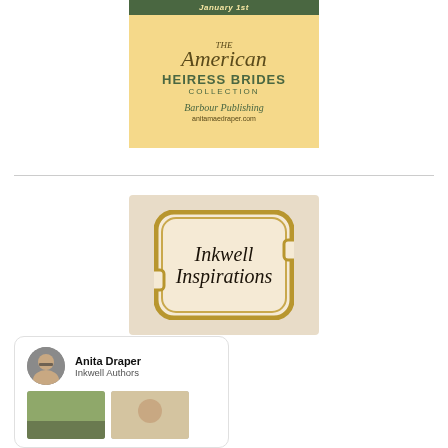[Figure (illustration): Book cover for 'The American Heiress Brides Collection' by Barbour Publishing, with beige/gold background, dark green top bar reading 'January 1st', and website anitamaedraper.com]
[Figure (logo): Inkwell Inspirations logo — ornate badge frame with cursive text 'Inkwell Inspirations' on a vintage parchment-colored background]
[Figure (photo): Author card for Anita Draper, Inkwell Authors, showing a circular avatar photo of the author with glasses, and two thumbnail book images below]